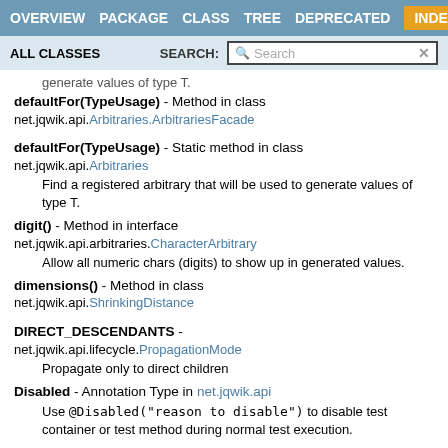OVERVIEW  PACKAGE  CLASS  TREE  DEPRECATED  INDEX
ALL CLASSES   SEARCH:
generate values of type T.
defaultFor(TypeUsage) - Method in class net.jqwik.api.Arbitraries.ArbitrariesFacade
defaultFor(TypeUsage) - Static method in class net.jqwik.api.Arbitraries
Find a registered arbitrary that will be used to generate values of type T.
digit() - Method in interface net.jqwik.api.arbitraries.CharacterArbitrary
Allow all numeric chars (digits) to show up in generated values.
dimensions() - Method in class net.jqwik.api.ShrinkingDistance
DIRECT_DESCENDANTS - net.jqwik.api.lifecycle.PropagationMode
Propagate only to direct children
Disabled - Annotation Type in net.jqwik.api
Use @Disabled("reason to disable") to disable test container or test method during normal test execution.